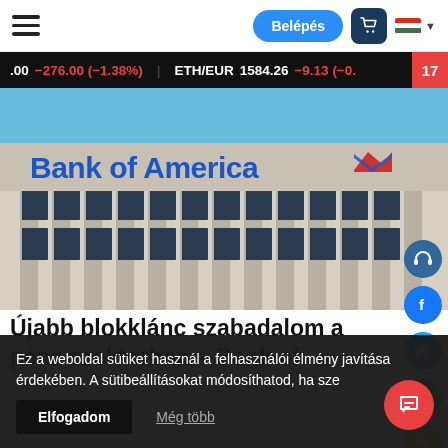Navigation bar with hamburger menu, Belépés button, cart, and language selector
.00  −276.00 (−1.38%) | ETH/EUR  1584.26  −9.13 (−0.
[Figure (photo): Bank of America building exterior with large blue signage and red logo]
Újabb blokklánc szabadalom a pénz szektorban – Bank of
Ez a weboldal sütiket használ a felhasználói élmény javítása érdekében. A sütibeállításokat módosíthatod, ha sze